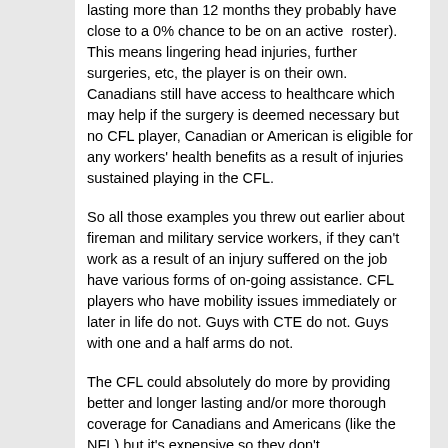lasting more than 12 months they probably have close to a 0% chance to be on an active roster). This means lingering head injuries, further surgeries, etc, the player is on their own. Canadians still have access to healthcare which may help if the surgery is deemed necessary but no CFL player, Canadian or American is eligible for any workers' health benefits as a result of injuries sustained playing in the CFL.
So all those examples you threw out earlier about fireman and military service workers, if they can't work as a result of an injury suffered on the job have various forms of on-going assistance. CFL players who have mobility issues immediately or later in life do not. Guys with CTE do not. Guys with one and a half arms do not.
The CFL could absolutely do more by providing better and longer lasting and/or more thorough coverage for Canadians and Americans (like the NFL) but it's expensive so they don't.
It may not bother you because you grew up in factories watching people get maimed but it bothers me and I wish we had the means, as a league, to take care of the players who got hurt playing for us.